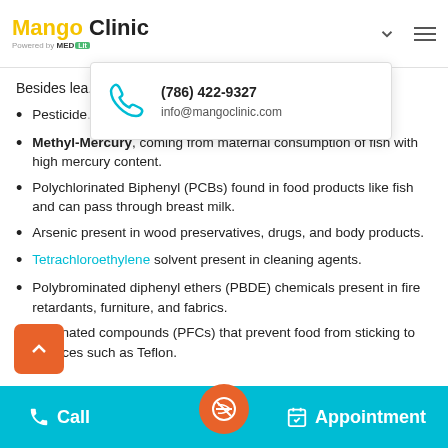Mango Clinic — Powered by MED-lit — (786) 422-9327 — info@mangoclinic.com
Besides lea... to include:
Pesticide...
Methyl-Mercury, coming from maternal consumption of fish with high mercury content.
Polychlorinated Biphenyl (PCBs) found in food products like fish and can pass through breast milk.
Arsenic present in wood preservatives, drugs, and body products.
Tetrachloroethylene solvent present in cleaning agents.
Polybrominated diphenyl ethers (PBDE) chemicals present in fire retardants, furniture, and fabrics.
...fluorinated compounds (PFCs) that prevent food from sticking to surfaces such as Teflon.
Call | Appointment